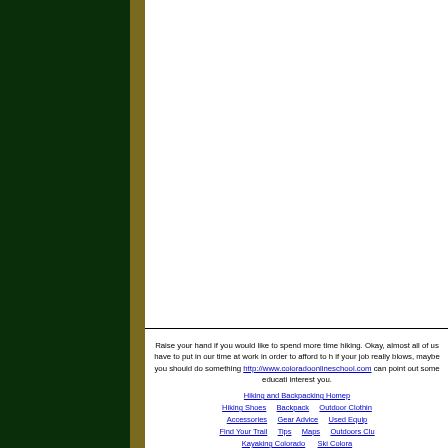[Figure (illustration): Dark green left sidebar with olive/tan vertical stripe along right edge]
Raise your hand if you would like to spend more time hiking. Okay, almost all of us have to put in our time at work in order to afford to hike, if your job really blows, maybe you should do something about it. http://www.coloradoonlineschool.com can point out some educational ideas that might interest you.
Hiking and Backpacking Homepage | Hiking Shoes | Backpack | Outdoor Clothing | Accessories | Gear Advice | Used Equipment | Find Your Trail | Tips | Maps | Outdoors Club | Kayaking Colorado | Ski Colorado